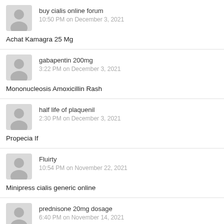[Figure (illustration): Generic user avatar silhouette icon, gray]
buy cialis online forum
10:50 PM on December 3, 2021
Achat Kamagra 25 Mg
[Figure (illustration): Generic user avatar silhouette icon, gray]
gabapentin 200mg
3:22 PM on December 3, 2021
Mononucleosis Amoxicillin Rash
[Figure (illustration): Generic user avatar silhouette icon, gray]
half life of plaquenil
2:30 PM on December 3, 2021
Propecia If
[Figure (illustration): Generic user avatar silhouette icon, gray]
Fluirty
10:54 PM on November 22, 2021
Minipress cialis generic online
[Figure (illustration): Generic user avatar silhouette icon, gray]
prednisone 20mg dosage
6:40 PM on November 14, 2021
Propecia Precio Finasteride 5 Mg